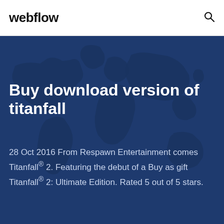webflow
Buy download version of titanfall
28 Oct 2016 From Respawn Entertainment comes Titanfall® 2. Featuring the debut of a Buy as gift Titanfall® 2: Ultimate Edition. Rated 5 out of 5 stars.